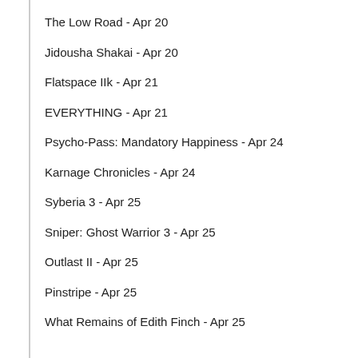The Low Road - Apr 20
Jidousha Shakai - Apr 20
Flatspace IIk - Apr 21
EVERYTHING - Apr 21
Psycho-Pass: Mandatory Happiness - Apr 24
Karnage Chronicles - Apr 24
Syberia 3 - Apr 25
Sniper: Ghost Warrior 3 - Apr 25
Outlast II - Apr 25
Pinstripe - Apr 25
What Remains of Edith Finch - Apr 25